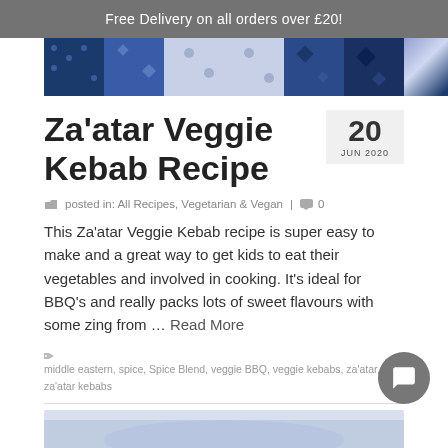Free Delivery on all orders over £20!
[Figure (illustration): Decorative banner with blue geometric/ethnic pattern tiles]
Za'atar Veggie Kebab Recipe
20 JUN 2020
posted in: All Recipes, Vegetarian & Vegan | 0
This Za'atar Veggie Kebab recipe is super easy to make and a great way to get kids to eat their vegetables and involved in cooking. It's ideal for BBQ's and really packs lots of sweet flavours with some zing from … Read More
middle eastern, spice, Spice Blend, veggie BBQ, veggie kebabs, za'atar, za'atar kebabs
[Figure (photo): Partially visible food photo at the bottom of the page]